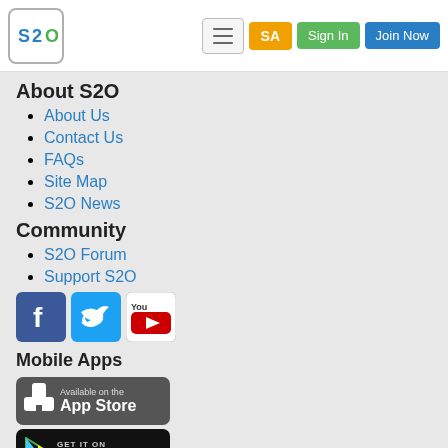S2O logo, menu, SA, Sign In, Join Now
About S2O
About Us
Contact Us
FAQs
Site Map
S2O News
Community
S2O Forum
Support S2O
[Figure (other): Social media icons: Facebook, Twitter, YouTube]
Mobile Apps
[Figure (other): Available on the App Store badge]
[Figure (other): GET IT ON Google Play badge]
[Figure (other): Available at amazon appstore for Android badge]